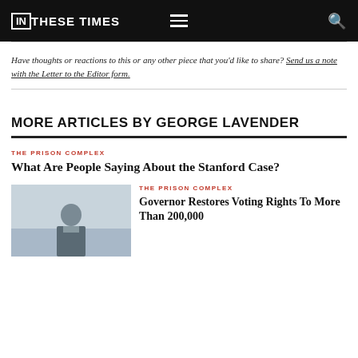IN THESE TIMES
Have thoughts or reactions to this or any other piece that you'd like to share? Send us a note with the Letter to the Editor form.
MORE ARTICLES BY GEORGE LAVENDER
THE PRISON COMPLEX
What Are People Saying About the Stanford Case?
THE PRISON COMPLEX
Governor Restores Voting Rights To More Than 200,000